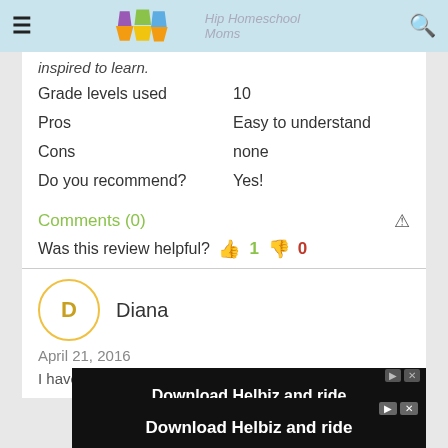Hip Homeschool Moms
inspired to learn.
Grade levels used   10
Pros   Easy to understand
Cons   none
Do you recommend?   Yes!
Comments (0)
Was this review helpful?  👍 1  👎 0
Diana
April 21, 2016
I have used this curriculum the past time to hire 15...
[Figure (screenshot): Advertisement banner: Download Helbiz and ride, showing a bicycle handlebar image]